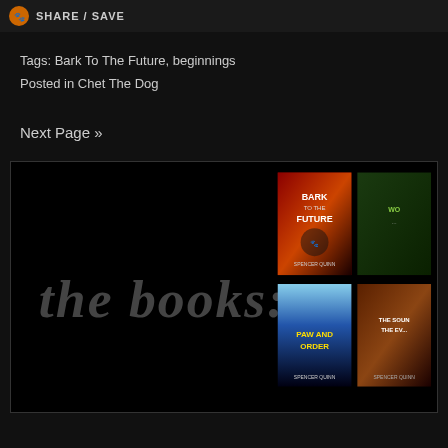SHARE / SAVE
Tags: Bark To The Future, beginnings
Posted in Chet The Dog
Next Page »
[Figure (illustration): Dark banner with large gray italic text reading 'the books:' on the left, and book cover images on the right showing 'Bark To The Future', 'Paw And Order', and other titles in a 2x2 grid of book covers against a black background]